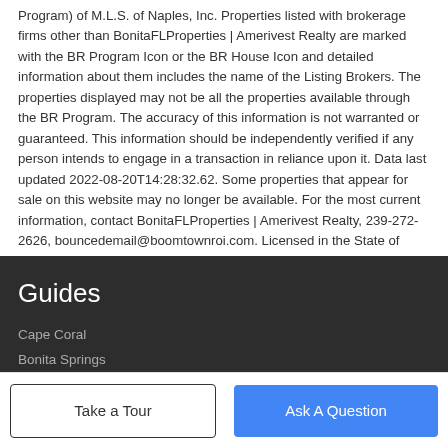Program) of M.L.S. of Naples, Inc. Properties listed with brokerage firms other than BonitaFLProperties | Amerivest Realty are marked with the BR Program Icon or the BR House Icon and detailed information about them includes the name of the Listing Brokers. The properties displayed may not be all the properties available through the BR Program. The accuracy of this information is not warranted or guaranteed. This information should be independently verified if any person intends to engage in a transaction in reliance upon it. Data last updated 2022-08-20T14:28:32.62. Some properties that appear for sale on this website may no longer be available. For the most current information, contact BonitaFLProperties | Amerivest Realty, 239-272-2626, bouncedemail@boomtownroi.com. Licensed in the State of Florida.
Guides
Cape Coral
Bonita Springs